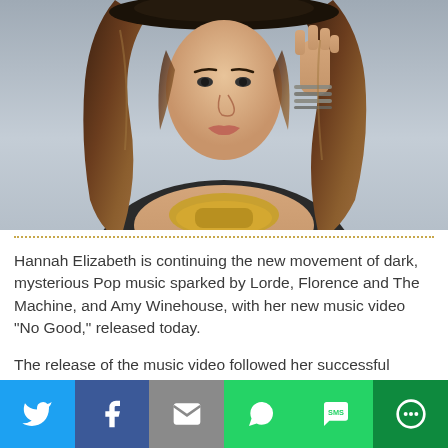[Figure (photo): Young woman with long wavy brunette hair, wearing a wide-brim hat, gold statement necklace, and stacked bracelets, posed against a grey background.]
Hannah Elizabeth is continuing the new movement of dark, mysterious Pop music sparked by Lorde, Florence and The Machine, and Amy Winehouse, with her new music video “No Good,” released today.
The release of the music video followed her successful launch of the single “No Good,” which currently has over 40K plays on SoundCloud. The music video was
[Figure (infographic): Social sharing bar with Twitter, Facebook, Email, WhatsApp, SMS, and More buttons.]